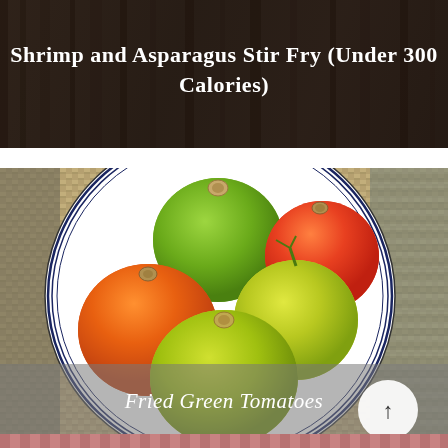[Figure (photo): Dark background food blog card showing title text 'Shrimp and Asparagus Stir Fry (Under 300 Calories)' in white on a dark brownish background]
[Figure (photo): Photo of a white plate with black-ringed border containing five tomatoes of varying ripeness (green, yellow-green, and red/orange) sitting on a woven placemat background. A semi-transparent gray bar at the bottom reads 'Fried Green Tomatoes' in white italic text. A circular up-arrow button is visible in the bottom right corner.]
[Figure (photo): Partial view of another food photo at the bottom of the page, partially cut off]